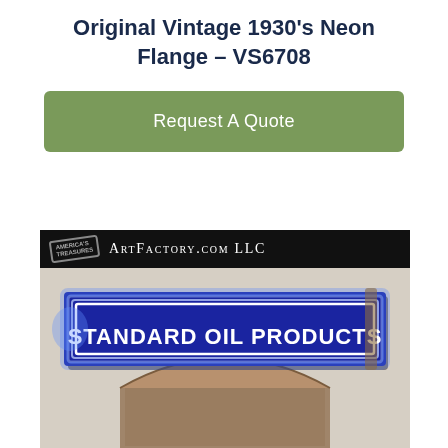Original Vintage 1930's Neon Flange – VS6708
[Figure (other): Green 'Request A Quote' button]
[Figure (photo): Photo of a vintage 1930s Standard Oil Products neon flange sign mounted on a wall, displayed by ArtFactory.com LLC. The sign is blue with white neon border tubing and white lettering reading 'STANDARD OIL PRODUCTS'.]